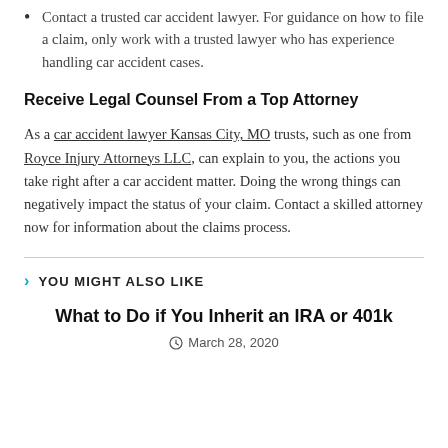Contact a trusted car accident lawyer. For guidance on how to file a claim, only work with a trusted lawyer who has experience handling car accident cases.
Receive Legal Counsel From a Top Attorney
As a car accident lawyer Kansas City, MO trusts, such as one from Royce Injury Attorneys LLC, can explain to you, the actions you take right after a car accident matter. Doing the wrong things can negatively impact the status of your claim. Contact a skilled attorney now for information about the claims process.
YOU MIGHT ALSO LIKE
What to Do if You Inherit an IRA or 401k
March 28, 2020